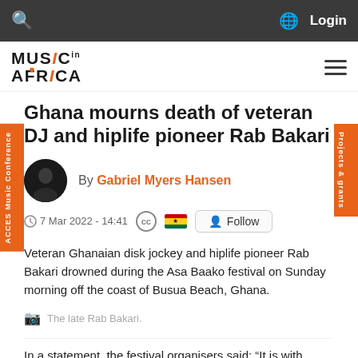Music In Africa — Login
[Figure (logo): Music In Africa logo with orange dot and stylized i]
Ghana mourns death of veteran DJ and hiplife pioneer Rab Bakari
By Gabriel Myers Hansen
7 Mar 2022 - 14:41
Veteran Ghanaian disk jockey and hiplife pioneer Rab Bakari drowned during the Asa Baako festival on Sunday morning off the coast of Busua Beach, Ghana.
The late Rab Bakari.
In a statement, the festival organisers said: "It is with deep